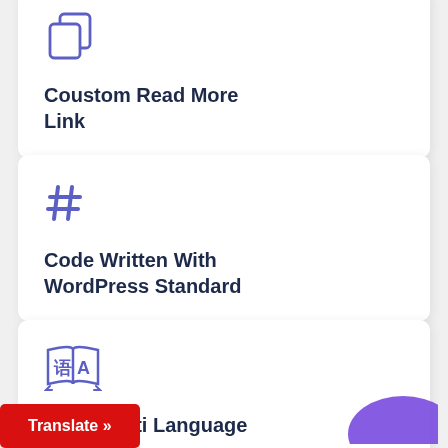[Figure (illustration): Copy/duplicate icon in purple outline style]
Coustom Read More Link
[Figure (illustration): Hash/pound symbol icon in purple]
Code Written With WordPress Standard
[Figure (illustration): Translation/language icon with A and foreign character in purple]
100% Multi Language
Translate »